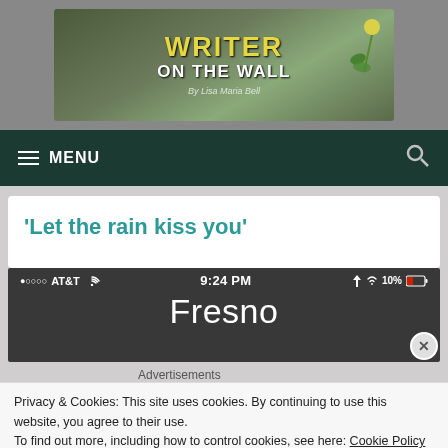[Figure (screenshot): Blog header banner with 'WRITER ON THE WALL By Lisa Maria Bell' text over a mossy stone wall background with a dandelion plant.]
≡ MENU   🔍
'Let the rain kiss you'
[Figure (screenshot): iPhone status bar and weather app showing AT&T carrier, 9:24 PM, 10% battery, and Fresno as the city.]
Advertisements
Privacy & Cookies: This site uses cookies. By continuing to use this website, you agree to their use.
To find out more, including how to control cookies, see here: Cookie Policy
Close and accept